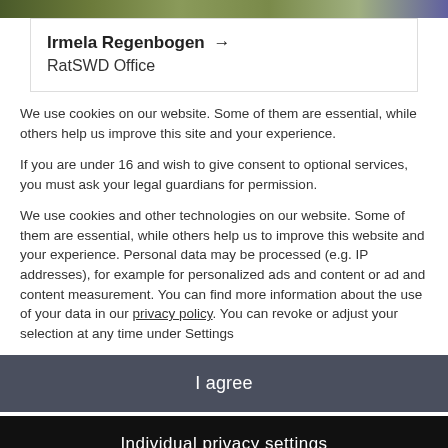[Figure (photo): Top strip of a nature/foliage photo, cropped at the top of the page]
Irmela Regenbogen → RatSWD Office
We use cookies on our website. Some of them are essential, while others help us improve this site and your experience.
If you are under 16 and wish to give consent to optional services, you must ask your legal guardians for permission.
We use cookies and other technologies on our website. Some of them are essential, while others help us to improve this website and your experience. Personal data may be processed (e.g. IP addresses), for example for personalized ads and content or ad and content measurement. You can find more information about the use of your data in our privacy policy. You can revoke or adjust your selection at any time under Settings
I agree
Individual privacy settings